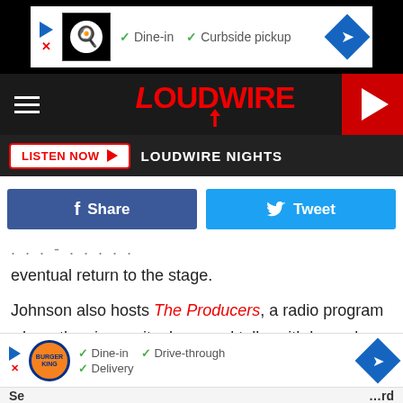[Figure (other): Advertisement banner with chef logo, Dine-in and Curbside pickup checkmarks, and navigation arrow icon]
LOUDWIRE — navigation bar with hamburger menu, Loudwire logo, and play button
LISTEN NOW ▶  LOUDWIRE NIGHTS
[Figure (other): Facebook Share button and Twitter Tweet button]
eventual return to the stage.
Johnson also hosts The Producers, a radio program where the singer sits down and talks with legendary record producers like Bob Rock (Metallica, Motley Crue), Kevin Shirley (Iron Maiden, Dream Theater) Roy Thomas Baker (Queen, Ozzy Osbourne) and Nick Raskulinecz (Foo Fighters, Defton
[Figure (other): Burger King advertisement with Dine-in, Drive-through, Delivery checkmarks and navigation arrow]
Se...